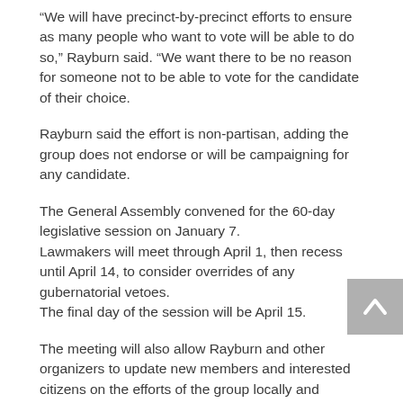“We will have precinct-by-precinct efforts to ensure as many people who want to vote will be able to do so,” Rayburn said. “We want there to be no reason for someone not to be able to vote for the candidate of their choice.
Rayburn said the effort is non-partisan, adding the group does not endorse or will be campaigning for any candidate.
The General Assembly convened for the 60-day legislative session on January 7.
Lawmakers will meet through April 1, then recess until April 14, to consider overrides of any gubernatorial vetoes.
The final day of the session will be April 15.
The meeting will also allow Rayburn and other organizers to update new members and interested citizens on the efforts of the group locally and statewide since the group was organized to help protect Second Amendment rights.
“We will be updating everyone on the January 31st Rally in Frankfort as well as what we have accomplished and what our plans are moving forward to protect our Second Amendment rights,” Rayburn said.
“We hope to set a record for Lewis County on getting the highest